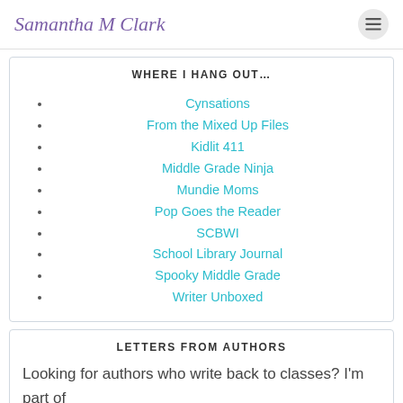Samantha M Clark
WHERE I HANG OUT…
Cynsations
From the Mixed Up Files
Kidlit 411
Middle Grade Ninja
Mundie Moms
Pop Goes the Reader
SCBWI
School Library Journal
Spooky Middle Grade
Writer Unboxed
LETTERS FROM AUTHORS
Looking for authors who write back to classes? I'm part of